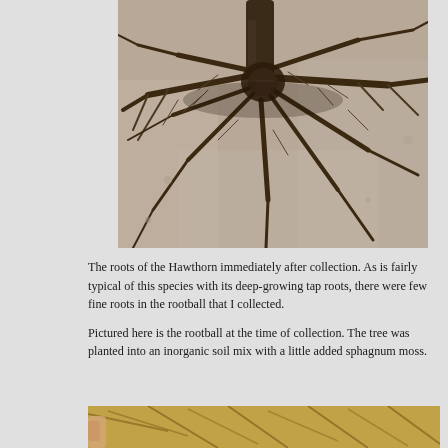[Figure (photo): Close-up photograph of Hawthorn tree roots spread out on a concrete or stone surface immediately after collection, showing the root system with few fine roots and prominent tap roots radiating outward from the base of the trunk.]
The roots of the Hawthorn immediately after collection. As is fairly typical of this species with its deep-growing tap roots, there were few fine roots in the rootball that I collected.
Pictured here is the rootball at the time of collection. The tree was planted into an inorganic soil mix with a little added sphagnum moss.
[Figure (photo): Partial view of another photograph showing plant roots or foliage, cropped at the bottom of the page.]